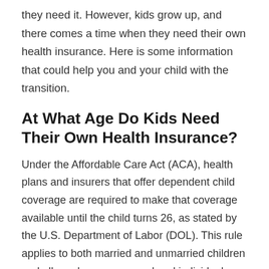they need it. However, kids grow up, and there comes a time when they need their own health insurance. Here is some information that could help you and your child with the transition.
At What Age Do Kids Need Their Own Health Insurance?
Under the Affordable Care Act (ACA), health plans and insurers that offer dependent child coverage are required to make that coverage available until the child turns 26, as stated by the U.S. Department of Labor (DOL). This rule applies to both married and unmarried children and all employer sponsored and individual health plans. It